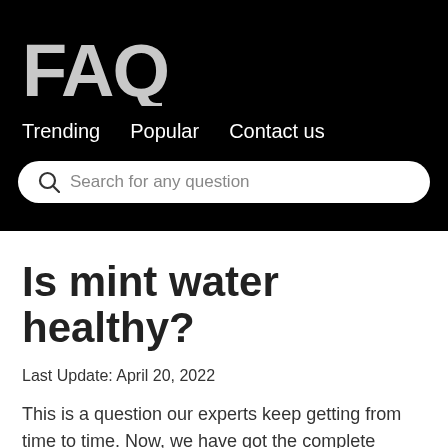[Figure (logo): FAQ logo in large bold grey letters on black background]
Trending   Popular   Contact us
Search for any question
Is mint water healthy?
Last Update: April 20, 2022
This is a question our experts keep getting from time to time. Now, we have got the complete detailed explanation and answer for everyone, who is interested!